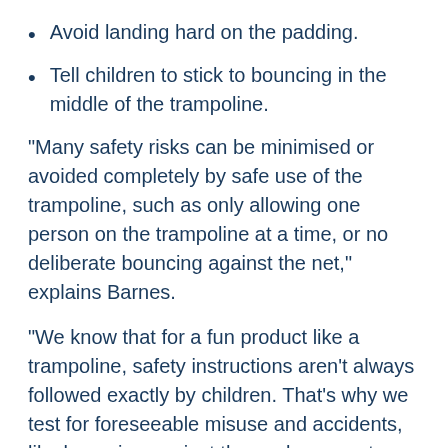Avoid landing hard on the padding.
Tell children to stick to bouncing in the middle of the trampoline.
"Many safety risks can be minimised or avoided completely by safe use of the trampoline, such as only allowing one person on the trampoline at a time, or no deliberate bouncing against the net," explains Barnes.
"We know that for a fun product like a trampoline, safety instructions aren't always followed exactly by children. That's why we test for foreseeable misuse and accidents, like bouncing against the enclosure net or landing hard on the padding."